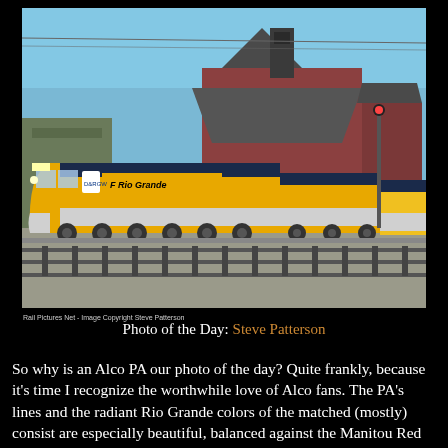[Figure (photo): A yellow and silver Rio Grande Alco PA diesel locomotive leading a passenger train at a station, with a large Victorian-era brick station building in the background under a blue sky.]
Rail Pictures Net - Image Copyright Steve Patterson
Photo of the Day: Steve Patterson
So why is an Alco PA our photo of the day? Quite frankly, because it's time I recognize the worthwhile love of Alco fans. The PA's lines and the radiant Rio Grande colors of the matched (mostly) consist are especially beautiful, balanced against the Manitou Red